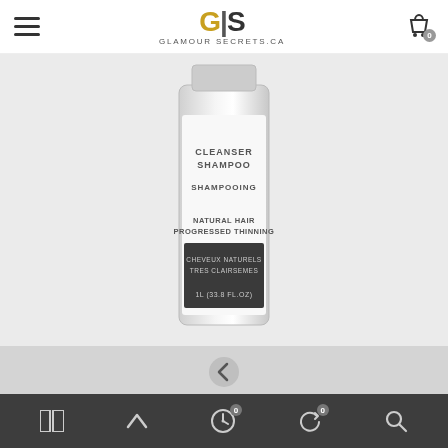Glamour Secrets CA - Navigation header with hamburger menu, GS logo, and cart icon
[Figure (photo): Nioxin System 2 Cleanser Shampoo 1L bottle product photo on grey background. Label reads: CLEANSER SHAMPOO / SHAMPOOING / NATURAL HAIR PROGRESSED THINNING / CHEVEUX NATURELS TRES CLAIRSEMES / 1L (33.8 FL.OZ)]
[Figure (other): Thumbnail carousel strip with left arrow navigation button]
Nioxin System 2 Cleanser - 1L
CAD $33.99  CAD $45.00  -CAD $11.01
Bottom navigation bar with icons: columns, chevron-up, moon (0), refresh (0), search